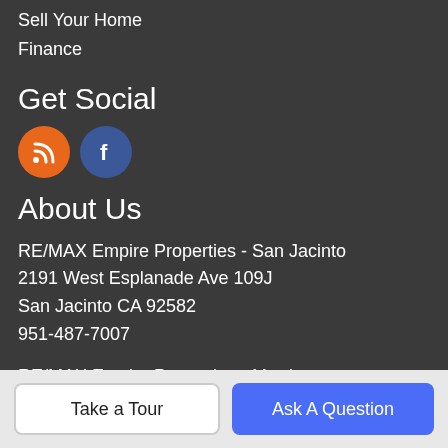Sell Your Home
Finance
Get Social
[Figure (infographic): Two social media icons: an orange circle with RSS feed icon and a blue circle with Facebook 'f' logo]
About Us
RE/MAX Empire Properties - San Jacinto
2191 West Esplanade Ave 109J
San Jacinto CA 92582
951-487-7007
RE/MAX Empire Properties - Murrieta
24663 Monroe Ave Suite B101
Murrieta, CA 92562
951-383-7557
Take a Tour
Ask A Question